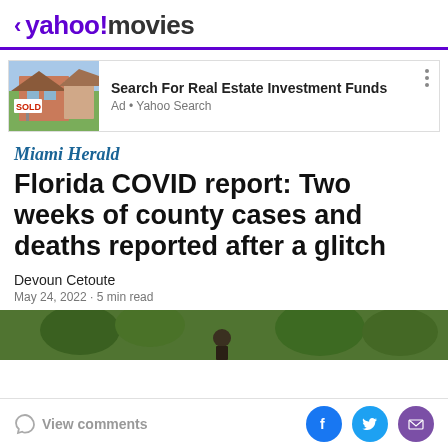< yahoo!movies
[Figure (photo): Advertisement banner with a house with SOLD sign image, text: Search For Real Estate Investment Funds, Ad • Yahoo Search]
Miami Herald
Florida COVID report: Two weeks of county cases and deaths reported after a glitch
Devoun Cetoute
May 24, 2022 · 5 min read
[Figure (photo): Partial photo of outdoor scene with trees and a person, clipped at bottom of article]
View comments | Facebook, Twitter, Email share buttons